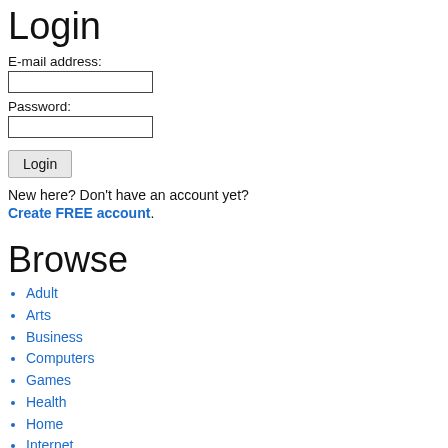Login
E-mail address:
Password:
Login
New here? Don't have an account yet?
Create FREE account.
Browse
Adult
Arts
Business
Computers
Games
Health
Home
Internet